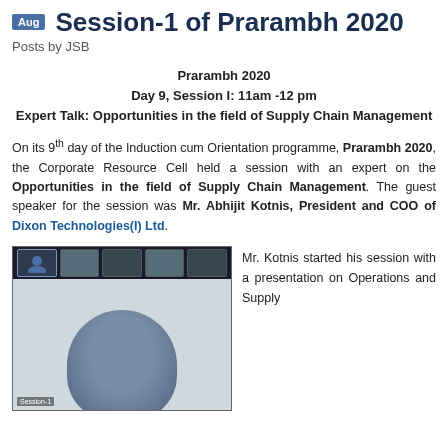Session-1 of Prarambh 2020
Posts by JSB
Prarambh 2020
Day 9, Session I: 11am -12 pm
Expert Talk: Opportunities in the field of Supply Chain Management
On its 9th day of the Induction cum Orientation programme, Prarambh 2020, the Corporate Resource Cell held a session with an expert on the Opportunities in the field of Supply Chain Management. The guest speaker for the session was Mr. Abhijit Kotnis, President and COO of Dixon Technologies(I) Ltd.
[Figure (photo): Screenshot of a virtual session showing a man speaking, with video thumbnails of other participants at the top of the screen.]
Mr. Kotnis started his session with a presentation on Operations and Supply